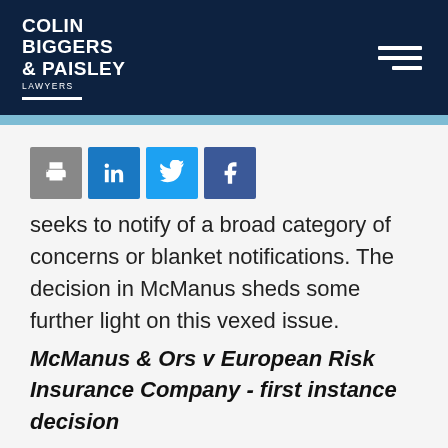Colin Biggers & Paisley Lawyers
[Figure (other): Social sharing icons: print, LinkedIn, Twitter, Facebook]
seeks to notify of a broad category of concerns or blanket notifications. The decision in McManus sheds some further light on this vexed issue.
McManus & Ors v European Risk Insurance Company - first instance decision
In early 2012 McManus Seddon Runhams (MSR), the insured law firm, received 17 claims against a prior practice, Sekhon Firth